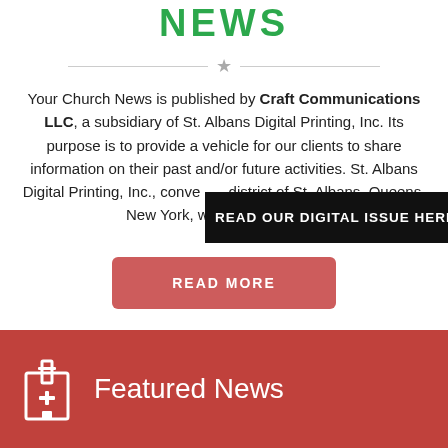NEWS
Your Church News is published by Craft Communications LLC, a subsidiary of St. Albans Digital Printing, Inc. Its purpose is to provide a vehicle for our clients to share information on their past and/or future activities. St. Albans Digital Printing, Inc., conve... district of St. Albans, Queens, New York, was founded as …
[Figure (other): Black banner overlay with text READ OUR DIGITAL ISSUE HERE]
READ MORE
Featured News